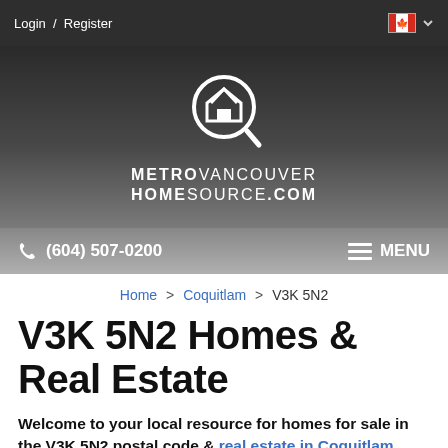Login / Register
[Figure (logo): Metro Vancouver HomeSource.com logo with magnifying glass over a house icon, white on dark background]
(604) 507-0200  MENU
Home > Coquitlam > V3K 5N2
V3K 5N2 Homes & Real Estate
Welcome to your local resource for homes for sale in the V3K 5N2 postal code & real estate in Coquitlam